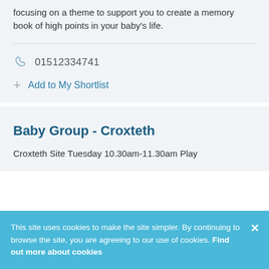focusing on a theme to support you to create a memory book of high points in your baby's life.
01512334741
Add to My Shortlist
Baby Group - Croxteth
Croxteth Site Tuesday 10.30am-11.30am Play
This site uses cookies to make the site simpler. By continuing to browse the site, you are agreeing to our use of cookies. Find out more about cookies